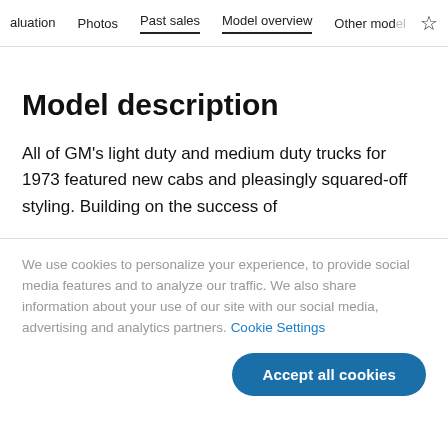aluation  Photos  Past sales  Model overview  Other models
Model description
All of GM's light duty and medium duty trucks for 1973 featured new cabs and pleasingly squared-off styling. Building on the success of
We use cookies to personalize your experience, to provide social media features and to analyze our traffic. We also share information about your use of our site with our social media, advertising and analytics partners. Cookie Settings
Accept all cookies